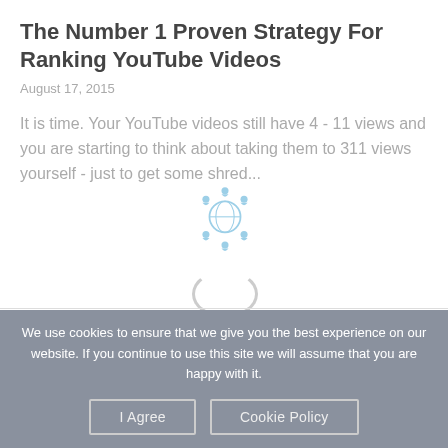The Number 1 Proven Strategy For Ranking YouTube Videos
August 17, 2015
It is time. Your YouTube videos still have 4 - 11 views and you are starting to think about taking them to 311 views yourself - just to get some shred...
[Figure (logo): A blue circular logo with human figure pieces forming a globe-like shape, partially transparent/loading state with a spinner circle below]
We use cookies to ensure that we give you the best experience on our website. If you continue to use this site we will assume that you are happy with it.
I Agree   Cookie Policy